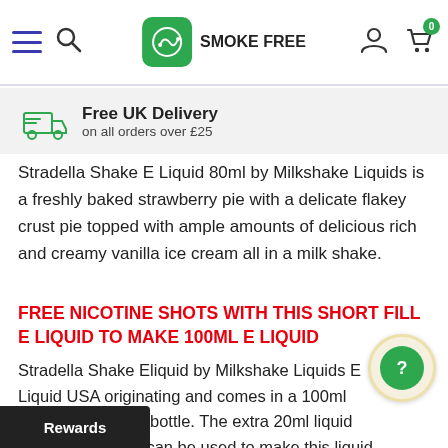Smoke Free navigation bar with hamburger menu, search, logo, account and cart icons
Free UK Delivery on all orders over £25
Stradella Shake E Liquid 80ml by Milkshake Liquids is a freshly baked strawberry pie with a delicate flakey crust pie topped with ample amounts of delicious rich and creamy vanilla ice cream all in a milk shake.
FREE NICOTINE SHOTS WITH THIS SHORT FILL E LIQUID TO MAKE 100ML E LIQUID
Stradella Shake Eliquid by Milkshake Liquids E Liquid USA originating and comes in a 100ml short fill e liquid bottle. The extra 20ml liquid capacity of bottle can be used to make this liquid to 3mg Nicotine strength.
Rewards